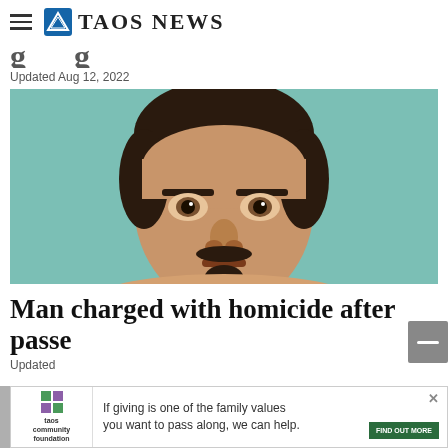Taos News
Updated Aug 12, 2022
[Figure (photo): Mugshot photo of a man with dark hair, mustache and goatee, against a teal/green background]
Man charged with homicide after passe...
Updated
If giving is one of the family values you want to pass along, we can help.